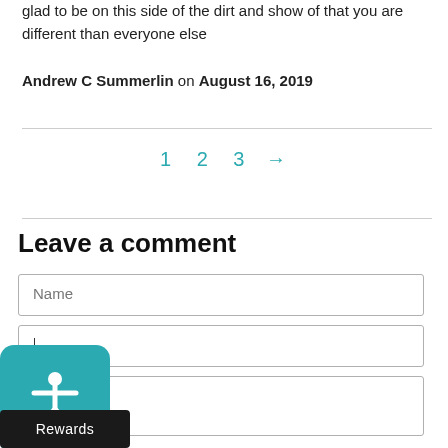glad to be on this side of the dirt and show of that you are different than everyone else
Andrew C Summerlin on August 16, 2019
1  2  3  →
Leave a comment
Name
Message